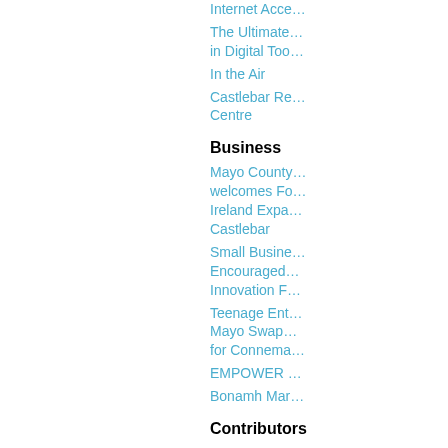Internet Acce…
The Ultimate… in Digital Too…
In the Air
Castlebar Re… Centre
Business
Mayo County… welcomes Fo… Ireland Expa… Castlebar
Small Busine… Encouraged… Innovation F…
Teenage Ent… Mayo Swap… for Connema…
EMPOWER …
Bonamh Mar…
Contributors
We Want Yo…
Upload an Ar… Photographs… Castlebar.Ne…
Become a Co…
Instructions f… to Castlebar.…
Politics
Castlebar M…